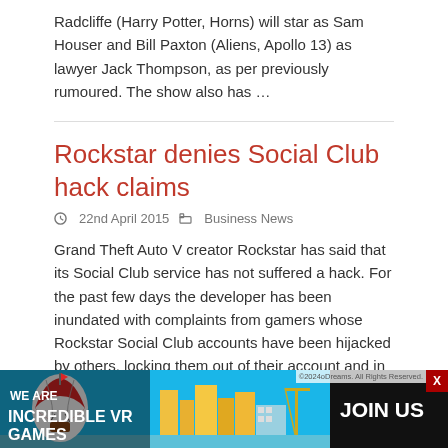Radcliffe (Harry Potter, Horns) will star as Sam Houser and Bill Paxton (Aliens, Apollo 13) as lawyer Jack Thompson, as per previously rumoured. The show also has ...
Rockstar denies Social Club hack claims
22nd April 2015   Business News
Grand Theft Auto V creator Rockstar has said that its Social Club service has not suffered a hack. For the past few days the developer has been inundated with complaints from gamers whose Rockstar Social Club accounts have been hijacked by others, locking them out of their account and in ...
Steam top nine sellers: April 12-18
21st April 2015   PC
[Figure (screenshot): Advertisement banner at bottom: WE ARE INCREDIBLE VR GAMES with JOIN US button, showing a colorful city scene with hot air balloon]